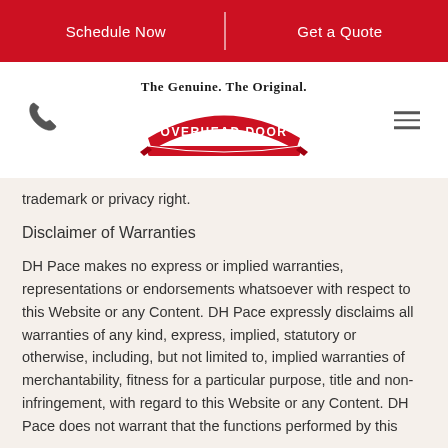Schedule Now | Get a Quote
[Figure (logo): Overhead Door logo with tagline 'The Genuine. The Original.' and red arch banner]
trademark or privacy right.
Disclaimer of Warranties
DH Pace makes no express or implied warranties, representations or endorsements whatsoever with respect to this Website or any Content. DH Pace expressly disclaims all warranties of any kind, express, implied, statutory or otherwise, including, but not limited to, implied warranties of merchantability, fitness for a particular purpose, title and non-infringement, with regard to this Website or any Content. DH Pace does not warrant that the functions performed by this